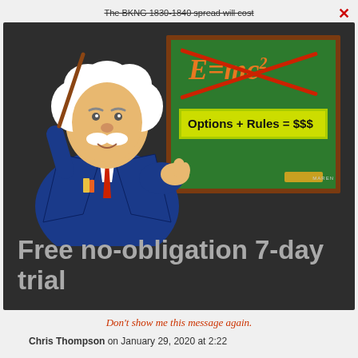The BKNG 1830-1840 spread will cost
[Figure (illustration): Cartoon illustration of Einstein-like professor holding a pointer stick, standing in front of a green chalkboard. The chalkboard shows 'E=mc²' crossed out in red, and a yellow-highlighted box reading 'Options + Rules = $$$'. Dark background.]
Free no-obligation 7-day trial
Don't show me this message again.
Chris Thompson on January 29, 2020 at 2:22